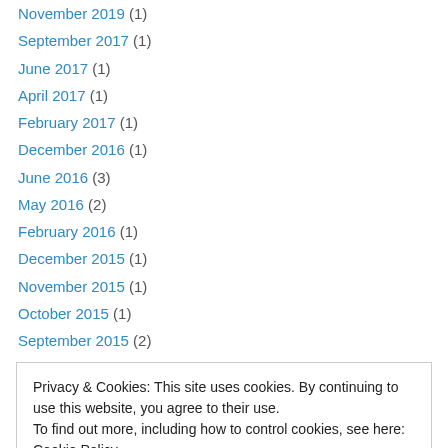November 2019 (1)
September 2017 (1)
June 2017 (1)
April 2017 (1)
February 2017 (1)
December 2016 (1)
June 2016 (3)
May 2016 (2)
February 2016 (1)
December 2015 (1)
November 2015 (1)
October 2015 (1)
September 2015 (2)
Privacy & Cookies: This site uses cookies. By continuing to use this website, you agree to their use. To find out more, including how to control cookies, see here: Cookie Policy
May 2014 (1)